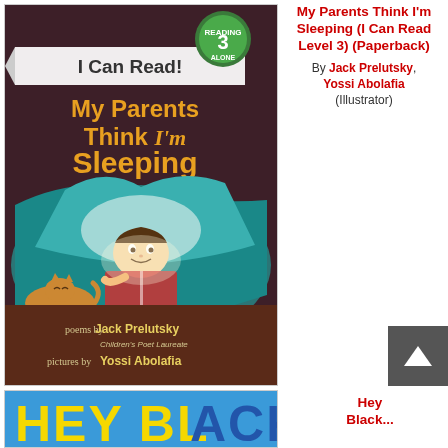[Figure (photo): Book cover for 'My Parents Think I'm Sleeping' – I Can Read Level 3 (Paperback). Dark purple/brown background with a child reading under covers with a flashlight, a cat nearby. Text: poems by Jack Prelutsky, Children's Poet Laureate; pictures by Yossi Abolafia. Green badge with '3 Reading Alone'.]
My Parents Think I'm Sleeping (I Can Read Level 3) (Paperback)
By Jack Prelutsky, Yossi Abolafia (Illustrator)
[Figure (photo): Partial view of another book cover with blue background and large bold letters reading 'HEY BLACK...' (partially visible).]
Hey Black...